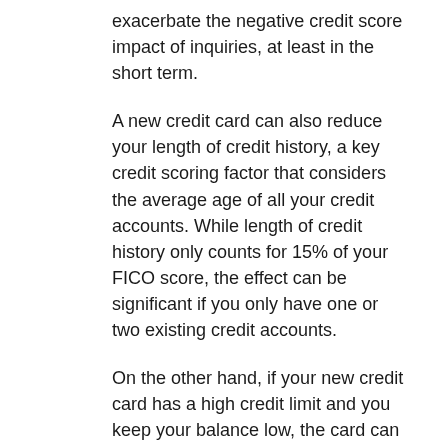exacerbate the negative credit score impact of inquiries, at least in the short term.
A new credit card can also reduce your length of credit history, a key credit scoring factor that considers the average age of all your credit accounts. While length of credit history only counts for 15% of your FICO score, the effect can be significant if you only have one or two existing credit accounts.
On the other hand, if your new credit card has a high credit limit and you keep your balance low, the card can eventually boost your credit score by increasing your overall available credit.
debit card, or cash, Ulzheimer said.
If you need to close your credit cards to avoid using them, then do it, but know that every time you close a credit card, it can lower your score, he said – because it may reduce your available credit, thus